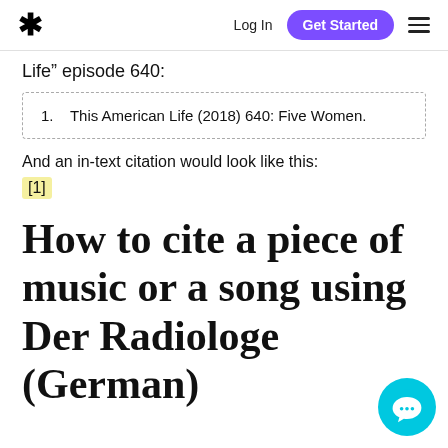* Log In Get Started ☰
Life" episode 640:
1. This American Life (2018) 640: Five Women.
And an in-text citation would look like this:
[1]
How to cite a piece of music or a song using Der Radiologe (German)